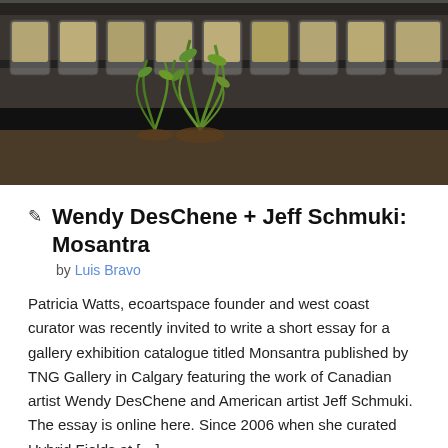[Figure (photo): Photograph of green plants growing in front of a row of transparent containers filled with grains/seeds on a dark shelf]
Wendy DesChene + Jeff Schmuki: Mosantra
by Luis Bravo
Patricia Watts, ecoartspace founder and west coast curator was recently invited to write a short essay for a gallery exhibition catalogue titled Monsantra published by TNG Gallery in Calgary featuring the work of Canadian artist Wendy DesChene and American artist Jeff Schmuki. The essay is online here. Since 2006 when she curated Hybrid Fields at […]